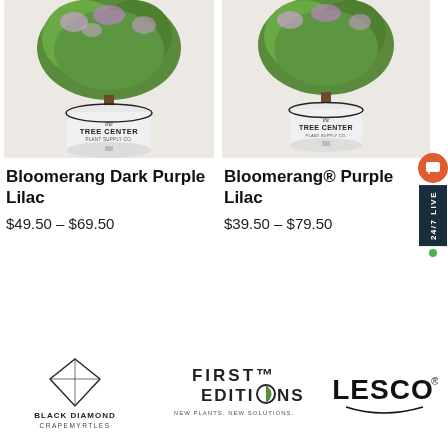[Figure (photo): Bloomerang Dark Purple Lilac plant in white Tree Center Plant Supply Co. pot]
[Figure (photo): Bloomerang® Purple Lilac plant in white Tree Center Plant Supply Co. pot]
Bloomerang Dark Purple Lilac
$49.50 – $69.50
Bloomerang® Purple Lilac
$39.50 – $79.50
[Figure (logo): Black Diamond Crapemyrtles logo with diamond icon]
[Figure (logo): First Editions – New Plants. New Solutions. logo]
[Figure (logo): LESCO logo]